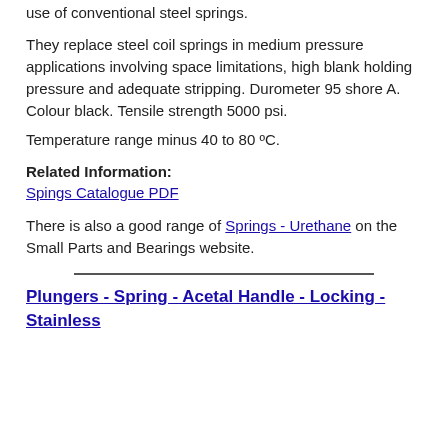use of conventional steel springs.
They replace steel coil springs in medium pressure applications involving space limitations, high blank holding pressure and adequate stripping. Durometer 95 shore A. Colour black. Tensile strength 5000 psi.
Temperature range minus 40 to 80 ºC.
Related Information:
Spings Catalogue PDF
There is also a good range of Springs - Urethane on the Small Parts and Bearings website.
Plungers - Spring - Acetal Handle - Locking - Stainless